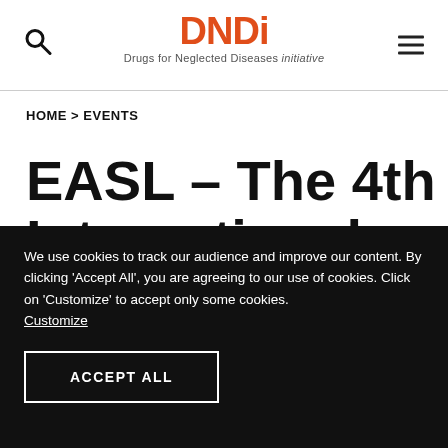DNDi – Drugs for Neglected Diseases initiative
HOME > EVENTS
EASL – The 4th International Liver
We use cookies to track our audience and improve our content. By clicking 'Accept All', you are agreeing to our use of cookies. Click on 'Customize' to accept only some cookies. Customize
ACCEPT ALL